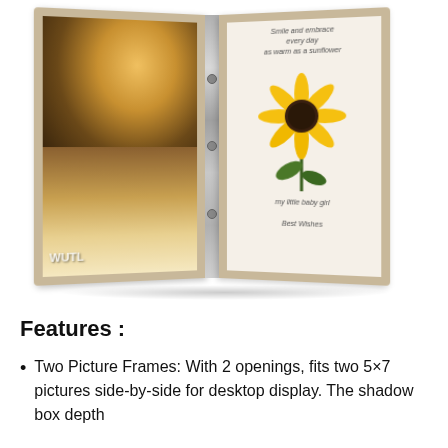[Figure (photo): A hinged double picture frame with rustic wood finish. Left panel shows a family photo in a field. Right panel shows a sunflower illustration with text 'Smile and embrace every day as warm as a sunflower / my little baby girl / Best Wishes'. Frame size label '5x7"' visible at top.]
Features :
Two Picture Frames: With 2 openings, fits two 5×7 pictures side-by-side for desktop display. The shadow box depth